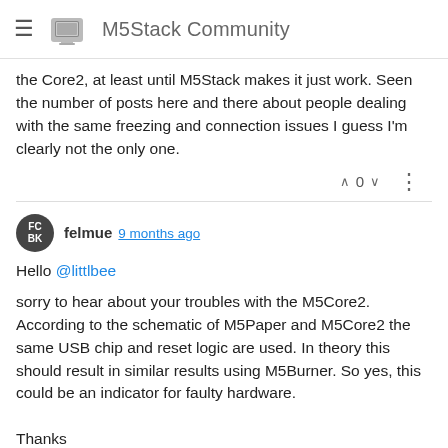M5Stack Community
the Core2, at least until M5Stack makes it just work. Seen the number of posts here and there about people dealing with the same freezing and connection issues I guess I'm clearly not the only one.
felmue 9 months ago
Hello @littlbee
sorry to hear about your troubles with the M5Core2. According to the schematic of M5Paper and M5Core2 the same USB chip and reset logic are used. In theory this should result in similar results using M5Burner. So yes, this could be an indicator for faulty hardware.

Thanks
Felix